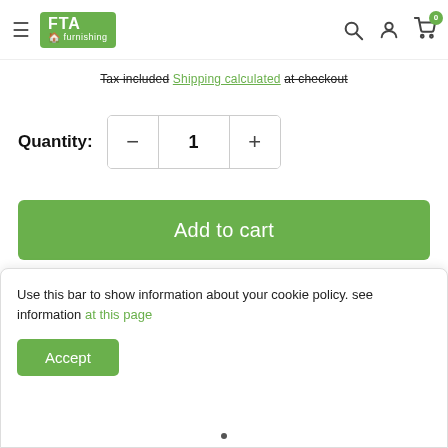FTA furnishing — navigation header with hamburger menu, logo, search, account, and cart icons
Tax included Shipping calculated at checkout
Quantity: 1
Add to cart
[Figure (other): Five grey social share circular icon buttons]
Use this bar to show information about your cookie policy. see information at this page
Accept